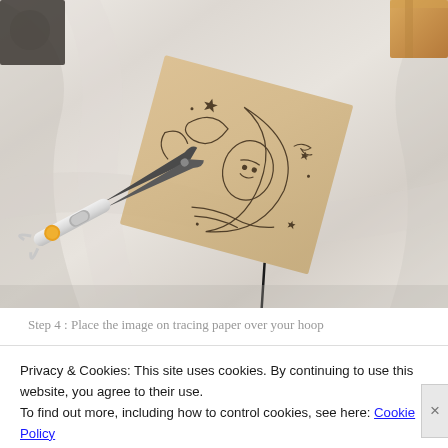[Figure (photo): Overhead photo of embroidery hoop setup on white fabric: a piece of brown tracing paper with drawn moon/stars/celestial design, scissors with white/grey/orange handle, and wooden hoop corner visible in top right.]
Step 4 : Place the image on tracing paper over your hoop
Privacy & Cookies: This site uses cookies. By continuing to use this website, you agree to their use.
To find out more, including how to control cookies, see here: Cookie Policy
Close and accept